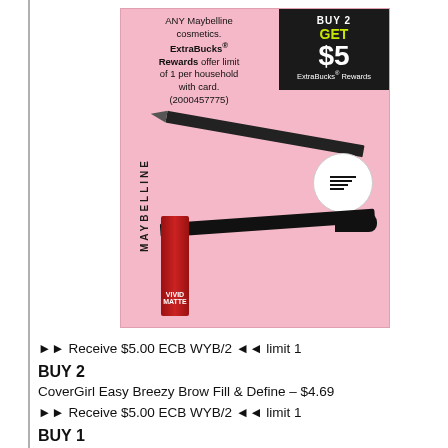[Figure (photo): Maybelline cosmetics advertisement on pink background. Shows mascara and eyeliner products. Top left text: 'ANY Maybelline cosmetics. ExtraBucks Rewards offer limit of 1 per household with card. (2000457775)'. Dark box on top right: 'BUY 2 GET $5 ExtraBucks Rewards'.]
►► Receive $5.00 ECB WYB/2 ◄◄ limit 1
BUY 2
CoverGirl Easy Breezy Brow Fill & Define – $4.69
►► Receive $5.00 ECB WYB/2 ◄◄ limit 1
BUY 1